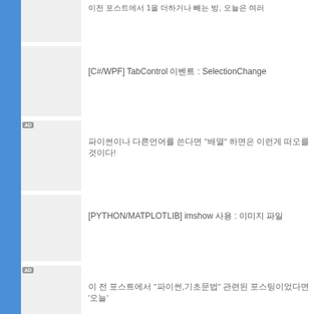이전 포스트에서 1을 더하거나 빼는 방, 오늘은 여러
[C#/WPF] TabControl 이벤트 : SelectionChange
파이썬이나 다른언어를 쓴다면 "배열" 하면은 이런게 떠오를 것이다!
[PYTHON/MATPLOTLIB] imshow 사용 : 이미지 파일
이 전 포스트에서 "파이썬,기초문법" 관련된 포스팅이었다면 '오늘'